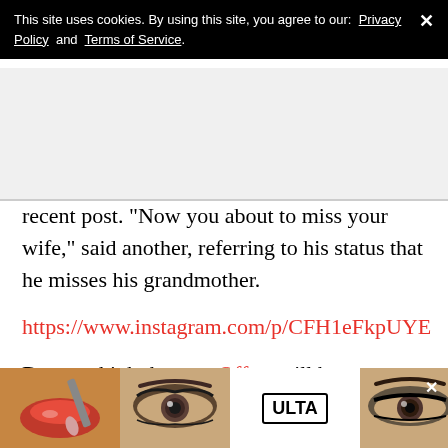This site uses cookies. By using this site, you agree to our: Privacy Policy and Terms of Service.
[Figure (other): Gray background area (advertisement or banner placeholder)]
recent post. "Now you about to miss your wife," said another, referring to his status that he misses his grandmother.
https://www.instagram.com/p/CFH1eFkpUYE
Do you think the new Offset will be delivering new
[Figure (infographic): Ulta Beauty advertisement banner at the bottom with makeup images and SHOP NOW call to action]